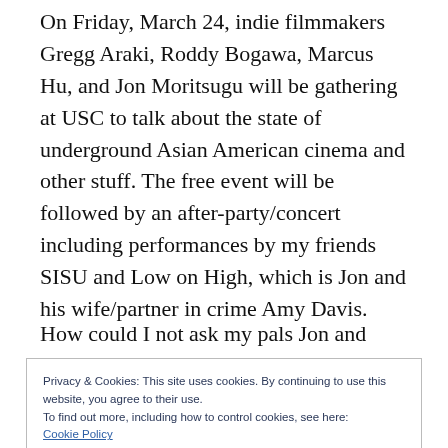On Friday, March 24, indie filmmakers Gregg Araki, Roddy Bogawa, Marcus Hu, and Jon Moritsugu will be gathering at USC to talk about the state of underground Asian American cinema and other stuff. The free event will be followed by an after-party/concert including performances by my friends SISU and Low on High, which is Jon and his wife/partner in crime Amy Davis.
How could I not ask my pals Jon and Amy, who
Privacy & Cookies: This site uses cookies. By continuing to use this website, you agree to their use.
To find out more, including how to control cookies, see here:
Cookie Policy
Close and accept
omped about, I know I am